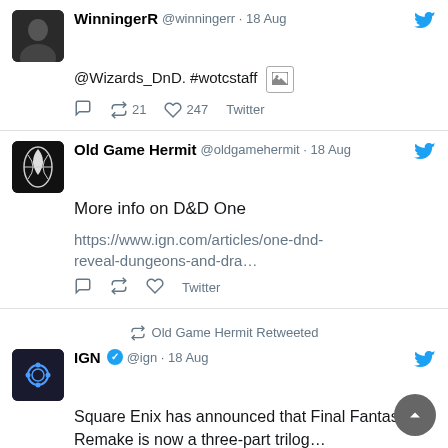[Figure (screenshot): Tweet from WinningerR (@winningerr) on 18 Aug: '@Wizards_DnD. #wotcstaff' with image icon, 21 retweets, 247 likes, Twitter source.]
[Figure (screenshot): Tweet from Old Game Hermit (@oldgamehermit) on 18 Aug: 'More info on D&D One' with link https://www.ign.com/articles/one-dnd-reveal-dungeons-and-dra..., Twitter source.]
[Figure (screenshot): Retweet by Old Game Hermit. Original tweet from IGN (@ign, verified) on 18 Aug: 'Square Enix has announced that Final Fantasy 7 Remake is now a three-part trilog...' with link https://www.ign.com/articles/final-fantasy-...]